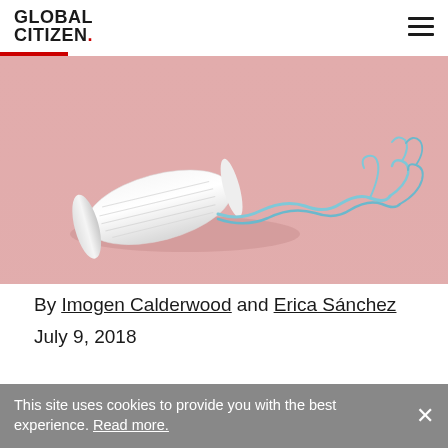GLOBAL CITIZEN.
[Figure (photo): Close-up photograph of a white tampon with a light blue string against a pink background.]
By Imogen Calderwood and Erica Sánchez
July 9, 2018
This site uses cookies to provide you with the best experience. Read more.